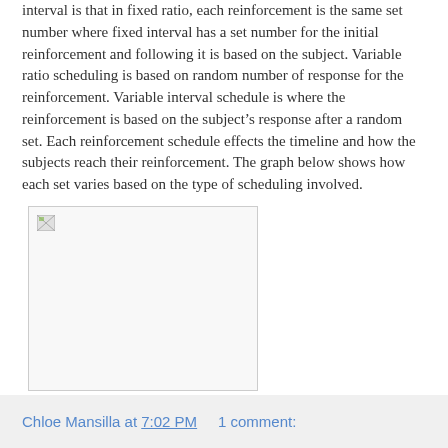interval is that in fixed ratio, each reinforcement is the same set number where fixed interval has a set number for the initial reinforcement and following it is based on the subject. Variable ratio scheduling is based on random number of response for the reinforcement. Variable interval schedule is where the reinforcement is based on the subject's response after a random set. Each reinforcement schedule effects the timeline and how the subjects reach their reinforcement. The graph below shows how each set varies based on the type of scheduling involved.
[Figure (other): A broken/placeholder image in a bordered box, representing a graph showing how reinforcement schedules vary based on type of scheduling involved.]
Chloe Mansilla at 7:02 PM     1 comment: